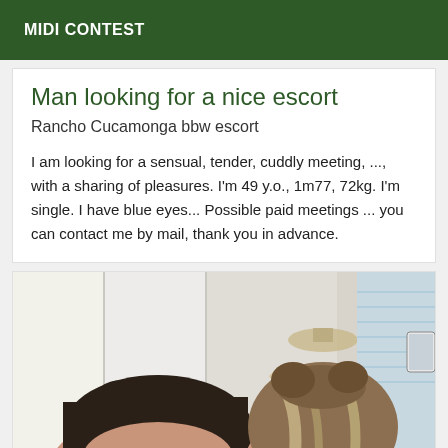MIDI CONTEST
Man looking for a nice escort
Rancho Cucamonga bbw escort
I am looking for a sensual, tender, cuddly meeting, ..., with a sharing of pleasures. I'm 49 y.o., 1m77, 72kg. I'm single. I have blue eyes... Possible paid meetings ... you can contact me by mail, thank you in advance.
[Figure (photo): Photo of a person with dark hair viewed from behind, with a room interior showing white cabinets and a window in the background. A second person with highlighted hair is visible to the right.]